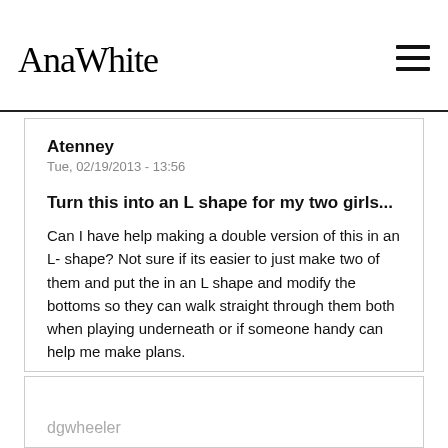AnaWhite
Atenney
Tue, 02/19/2013 - 13:56
Turn this into an L shape for my two girls...
Can I have help making a double version of this in an L- shape? Not sure if its easier to just make two of them and put the in an L shape and modify the bottoms so they can walk straight through them both when playing underneath or if someone handy can help me make plans.
Log in or register to post comments
dgwheeler